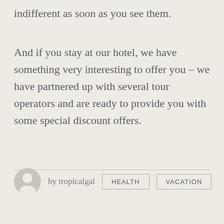indifferent as soon as you see them.
And if you stay at our hotel, we have something very interesting to offer you – we have partnered up with several tour operators and are ready to provide you with some special discount offers.
by tropicalgal
HEALTH
VACATION